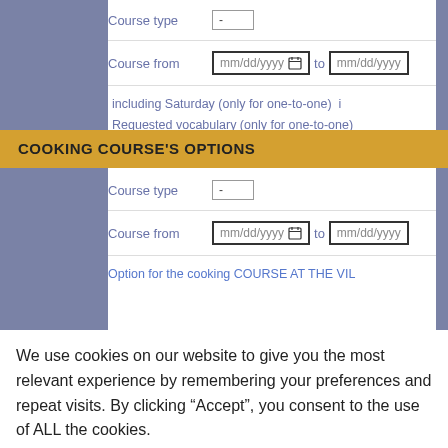| Field | Value |
| --- | --- |
| Course type | - |
| Course from | mm/dd/yyyy  to  mm/dd/yyyy |
|  | including Saturday (only for one-to-one)
Requested vocabulary (only for one-to-one) |
COOKING COURSE'S OPTIONS
| Field | Value |
| --- | --- |
| Course type | - |
| Course from | mm/dd/yyyy  to  mm/dd/yyyy |
|  | Option for the cooking COURSE AT THE VIL |
We use cookies on our website to give you the most relevant experience by remembering your preferences and repeat visits. By clicking “Accept”, you consent to the use of ALL the cookies.
ACCEPT
Read More